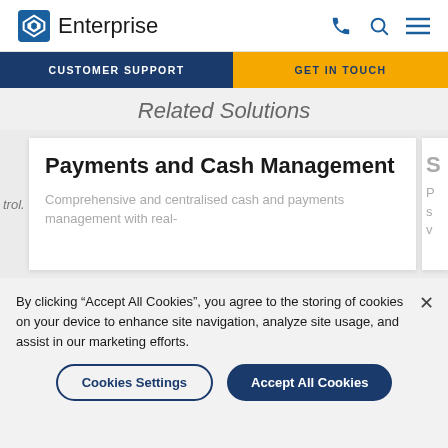Enterprise
CUSTOMER SUPPORT | GET IN TOUCH
Related Solutions
Payments and Cash Management
Comprehensive and centralised cash and payments management with real-
By clicking “Accept All Cookies”, you agree to the storing of cookies on your device to enhance site navigation, analyze site usage, and assist in our marketing efforts.
Cookies Settings
Accept All Cookies